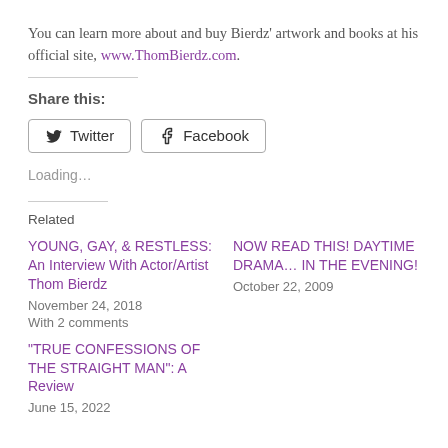You can learn more about and buy Bierdz' artwork and books at his official site, www.ThomBierdz.com.
Share this:
[Figure (other): Twitter and Facebook share buttons]
Loading...
Related
YOUNG, GAY, & RESTLESS:  An Interview With Actor/Artist Thom Bierdz
November 24, 2018
With 2 comments
NOW READ THIS! DAYTIME DRAMA… IN THE EVENING!
October 22, 2009
"TRUE CONFESSIONS OF THE STRAIGHT MAN": A Review
June 15, 2022